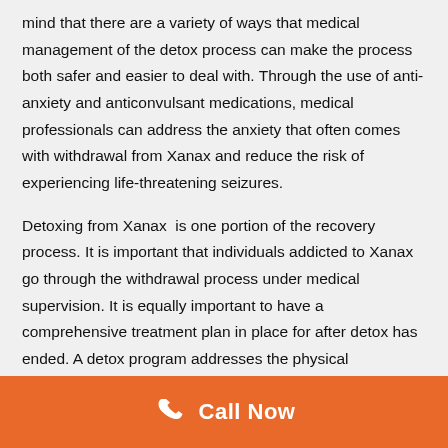mind that there are a variety of ways that medical management of the detox process can make the process both safer and easier to deal with. Through the use of anti-anxiety and anticonvulsant medications, medical professionals can address the anxiety that often comes with withdrawal from Xanax and reduce the risk of experiencing life-threatening seizures.
Detoxing from Xanax  is one portion of the recovery process. It is important that individuals addicted to Xanax go through the withdrawal process under medical supervision. It is equally important to have a comprehensive treatment plan in place for after detox has ended. A detox program addresses the physical component of addiction, while the therapies and skills
[Figure (infographic): Orange call-to-action footer bar with a white phone handset icon and bold white text reading 'Call Now']